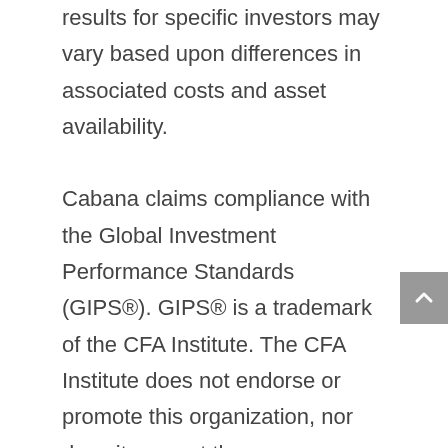results for specific investors may vary based upon differences in associated costs and asset availability.

Cabana claims compliance with the Global Investment Performance Standards (GIPS®). GIPS® is a trademark of the CFA Institute. The CFA Institute does not endorse or promote this organization, nor does it warrant the accuracy or quality of the content contained herein. To receive a GIPS Report and/or a